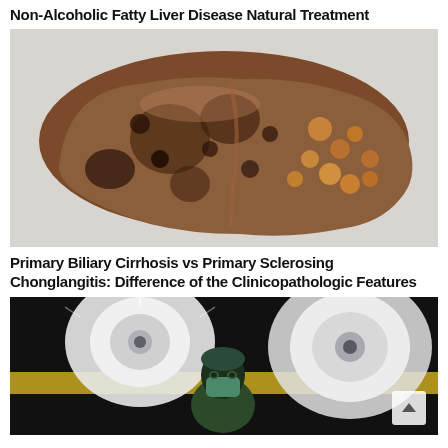Non-Alcoholic Fatty Liver Disease Natural Treatment
[Figure (photo): Close-up photograph of a diseased liver showing a nodular, discolored surface with dark brown and orange patches, characteristic of cirrhosis or severe fatty liver disease.]
Primary Biliary Cirrhosis vs Primary Sclerosing Chonglangitis: Difference of the Clinicopathologic Features
[Figure (photo): Dark photograph of a surgeon wearing a surgical mask and cap, viewed from below against bright surgical operating lights in an operating room.]